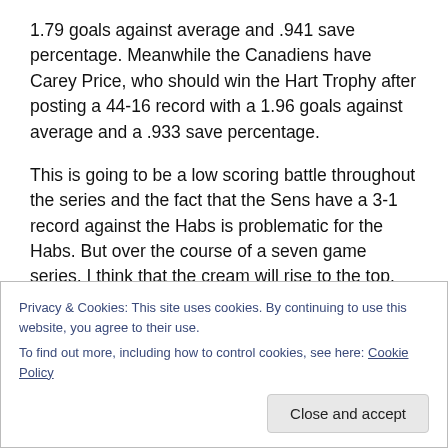1.79 goals against average and .941 save percentage. Meanwhile the Canadiens have Carey Price, who should win the Hart Trophy after posting a 44-16 record with a 1.96 goals against average and a .933 save percentage.
This is going to be a low scoring battle throughout the series and the fact that the Sens have a 3-1 record against the Habs is problematic for the Habs. But over the course of a seven game series, I think that the cream will rise to the top. Eventually the Sens will have to slow down and Hammond and Mark Stone can't carry them forever. Add
Privacy & Cookies: This site uses cookies. By continuing to use this website, you agree to their use.
To find out more, including how to control cookies, see here: Cookie Policy